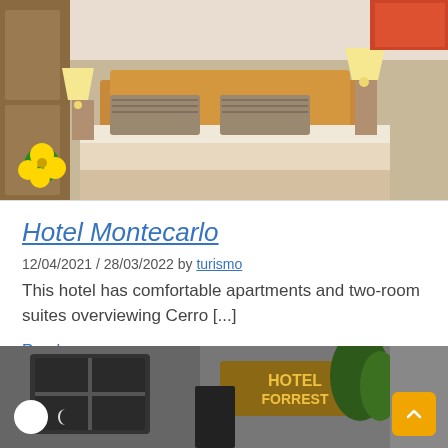[Figure (photo): Hotel room interior with a double bed, wooden headboard, striped pillows, bedside lamps, and a yellow flower visible on the left]
Hotel Montecarlo
12/04/2021 / 28/03/2022 by turismo
This hotel has comfortable apartments and two-room suites overviewing Cerro [...]
Read more »
Barrio Lastarria Bellas Artes   Hotels
[Figure (photo): Black and white photo of Hotel Forrest exterior with sign, ornate window, and plants]